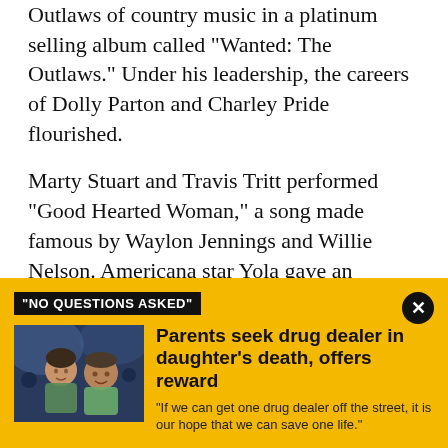Outlaws of country music in a platinum selling album called "Wanted: The Outlaws." Under his leadership, the careers of Dolly Parton and Charley Pride flourished.
Marty Stuart and Travis Tritt performed "Good Hearted Woman," a song made famous by Waylon Jennings and Willie Nelson. Americana star Yola gave an electrifying performance of "Jolene" and Old Crow Medicine Show made Alabama's "Dixieland Delight" into a frantic bluegrass breakdown with Molly Tuttle.
"This business has given me a wonderful life," Bradley
[Figure (infographic): Advertisement overlay with yellow background. Tag reads '"NO QUESTIONS ASKED"'. Shows image of two people smiling. Headline: 'Parents seek drug dealer in daughter's death, offers reward'. Subtext: '"If we can get one drug dealer off the street, it is our hope that we can save one life."']